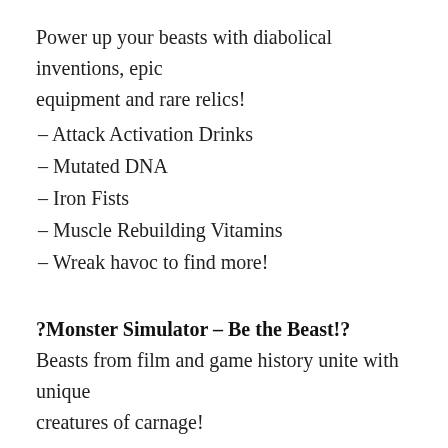Power up your beasts with diabolical inventions, epic equipment and rare relics!
– Attack Activation Drinks
– Mutated DNA
– Iron Fists
– Muscle Rebuilding Vitamins
– Wreak havoc to find more!
?Monster Simulator – Be the Beast!?
Beasts from film and game history unite with unique creatures of carnage!
– Lizard Gods
– King Gorillas
– Rampaging Robots
– Battle Toads